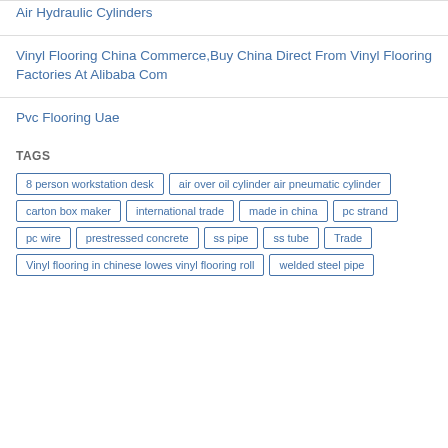Air Hydraulic Cylinders
Vinyl Flooring China Commerce,Buy China Direct From Vinyl Flooring Factories At Alibaba Com
Pvc Flooring Uae
TAGS
8 person workstation desk
air over oil cylinder air pneumatic cylinder
carton box maker
international trade
made in china
pc strand
pc wire
prestressed concrete
ss pipe
ss tube
Trade
Vinyl flooring in chinese lowes vinyl flooring roll
welded steel pipe